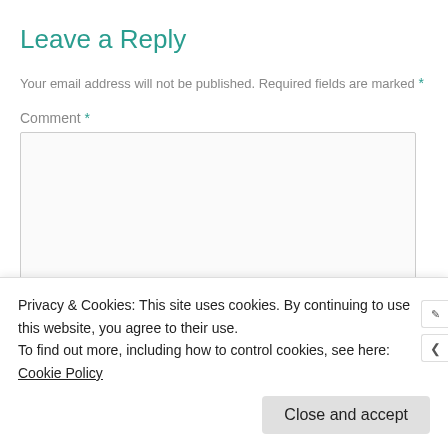Leave a Reply
Your email address will not be published. Required fields are marked *
Comment *
[Figure (screenshot): Empty comment textarea input box with light border]
Privacy & Cookies: This site uses cookies. By continuing to use this website, you agree to their use.
To find out more, including how to control cookies, see here: Cookie Policy
Close and accept